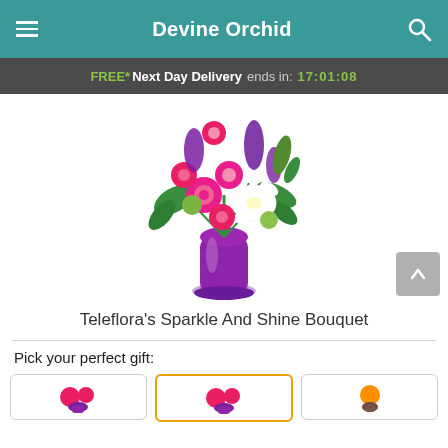Devine Orchid
FREE* Next Day Delivery ends in: 17:01:08
[Figure (photo): Teleflora's Sparkle And Shine Bouquet — a floral arrangement with pink roses, white lilies, purple stock flowers, green button mums, and green foliage in a purple vase]
Teleflora's Sparkle And Shine Bouquet
Pick your perfect gift:
[Figure (photo): Three gift option thumbnail images below 'Pick your perfect gift:' — leftmost unselected, middle selected with orange border, rightmost unselected]